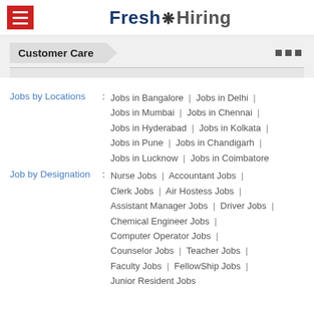Fresh Hiring
Customer Care
Jobs by Locations : Jobs in Bangalore | Jobs in Delhi | Jobs in Mumbai | Jobs in Chennai | Jobs in Hyderabad | Jobs in Kolkata | Jobs in Pune | Jobs in Chandigarh | Jobs in Lucknow | Jobs in Coimbatore
Job by Designation : Nurse Jobs | Accountant Jobs | Clerk Jobs | Air Hostess Jobs | Assistant Manager Jobs | Driver Jobs | Chemical Engineer Jobs | Computer Operator Jobs | Counselor Jobs | Teacher Jobs | Faculty Jobs | FellowShip Jobs | Junior Resident Jobs